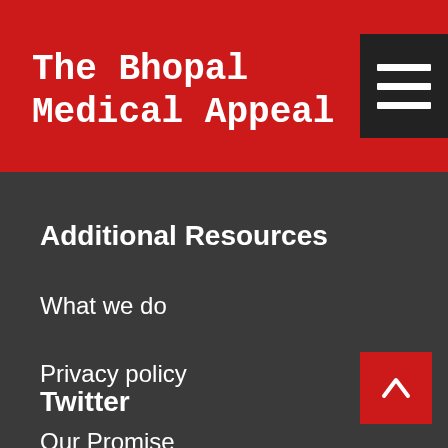The Bhopal Medical Appeal
Additional Resources
What we do
Privacy policy
Our Promise
Twitter